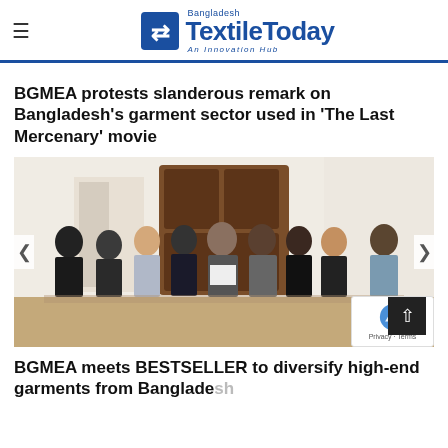Textile Today Bangladesh — An Innovation Hub
BGMEA protests slanderous remark on Bangladesh's garment sector used in 'The Last Mercenary' movie
[Figure (photo): Group of approximately 9 people standing in a formal room with a large wooden cabinet/armoire in the background. One person in the center is holding a document. The room has parquet flooring and white ornate walls. The people are formally dressed.]
BGMEA meets BESTSELLER to diversify high-end garments from Bangladesh